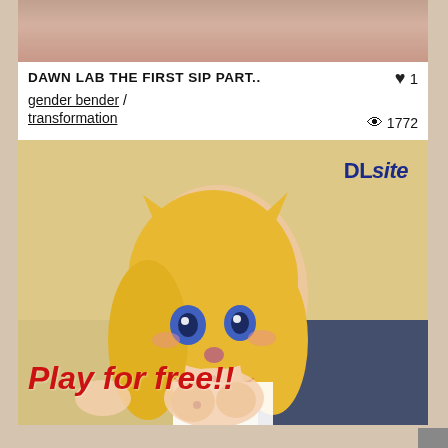[Figure (screenshot): Partial thumbnail of a content entry showing a cropped image at the top]
DAWN LAB THE FIRST SIP PART..
♥ 1
gender bender / transformation
👁 1772
03/09/2020
[Figure (illustration): DLsite advertisement banner featuring anime-style illustration with text 'DLsite' and 'Play for free!!']